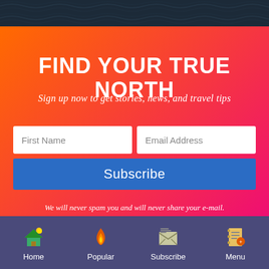[Figure (photo): Dark water texture photo strip at the top of the page]
FIND YOUR TRUE NORTH
Sign up now to get stories, news, and travel tips
First Name
Email Address
Subscribe
We will never spam you and will never share your e-mail. Please see our privacy policy.
Home   Popular   Subscribe   Menu